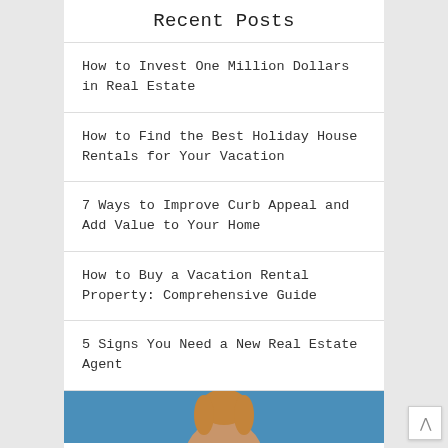Recent Posts
How to Invest One Million Dollars in Real Estate
How to Find the Best Holiday House Rentals for Your Vacation
7 Ways to Improve Curb Appeal and Add Value to Your Home
How to Buy a Vacation Rental Property: Comprehensive Guide
5 Signs You Need a New Real Estate Agent
[Figure (photo): Partial photo of a woman with blonde hair against a blue background, cropped at bottom of page]